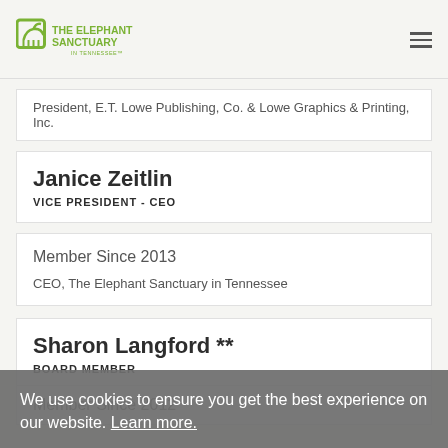The Elephant Sanctuary in Tennessee
President, E.T. Lowe Publishing, Co. & Lowe Graphics & Printing, Inc.
Janice Zeitlin
VICE PRESIDENT - CEO
Member Since 2013
CEO, The Elephant Sanctuary in Tennessee
Sharon Langford **
BOARD MEMBER
Member Since 2012
We use cookies to ensure you get the best experience on our website. Learn more.